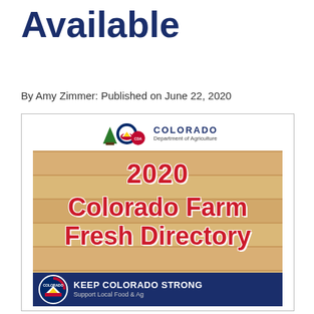Available
By Amy Zimmer: Published on June 22, 2020
[Figure (other): Colorado Department of Agriculture logo and 2020 Colorado Farm Fresh Directory cover image showing wood plank background with red text and Keep Colorado Strong banner at bottom]